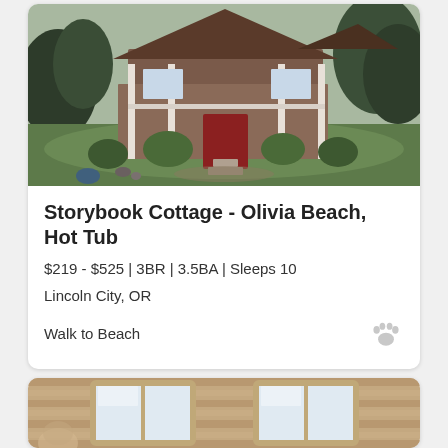[Figure (photo): Exterior photo of a craftsman-style cottage with a covered porch, lush green lawn, and surrounding shrubs and trees.]
Storybook Cottage - Olivia Beach, Hot Tub
$219 - $525 | 3BR | 3.5BA | Sleeps 10
Lincoln City, OR
Walk to Beach
[Figure (photo): Interior photo of a room with wooden ceiling panels and two windows letting in light.]